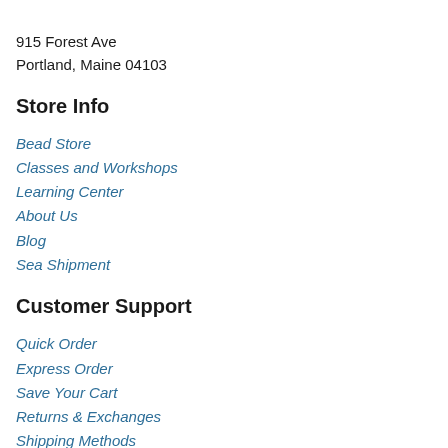915 Forest Ave
Portland, Maine 04103
Store Info
Bead Store
Classes and Workshops
Learning Center
About Us
Blog
Sea Shipment
Customer Support
Quick Order
Express Order
Save Your Cart
Returns & Exchanges
Shipping Methods